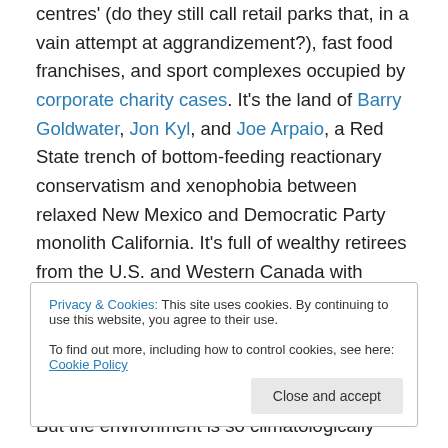centres' (do they still call retail parks that, in a vain attempt at aggrandizement?), fast food franchises, and sport complexes occupied by corporate charity cases. It's the land of Barry Goldwater, Jon Kyl, and Joe Arpaio, a Red State trench of bottom-feeding reactionary conservatism and xenophobia between relaxed New Mexico and Democratic Party monolith California. It's full of wealthy retirees from the U.S. and Western Canada with questionable taste and the progressive visitor wishes he or she did not have to share the natural wonders with so many luxury sedans and golf shirts and Italian bistros
Privacy & Cookies: This site uses cookies. By continuing to use this website, you agree to their use. To find out more, including how to control cookies, see here: Cookie Policy
But the environment is so climatologically pleasant that